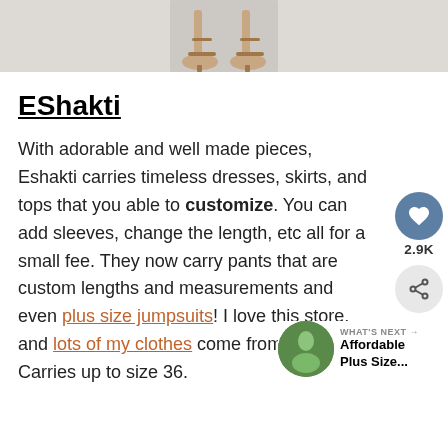[Figure (photo): Cropped photo of legs/feet wearing strappy heeled sandals on a light background]
EShakti
With adorable and well made pieces, Eshakti carries timeless dresses, skirts, and tops that you able to customize. You can add sleeves, change the length, etc all for a small fee. They now carry pants that are custom lengths and measurements and even plus size jumpsuits! I love this store, and lots of my clothes come from here. Carries up to size 36.